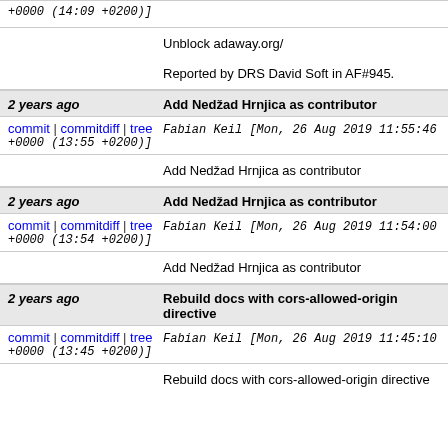+0000 (14:09 +0200)]
Unblock adaway.org/

Reported by DRS David Soft in AF#945.
2 years ago    Add Nedžad Hrnjica as contributor
commit | commitdiff | tree    Fabian Keil [Mon, 26 Aug 2019 11:55:46 +0000 (13:55 +0200)]
Add Nedžad Hrnjica as contributor
2 years ago    Add Nedžad Hrnjica as contributor
commit | commitdiff | tree    Fabian Keil [Mon, 26 Aug 2019 11:54:00 +0000 (13:54 +0200)]
Add Nedžad Hrnjica as contributor
2 years ago    Rebuild docs with cors-allowed-origin directive
commit | commitdiff | tree    Fabian Keil [Mon, 26 Aug 2019 11:45:10 +0000 (13:45 +0200)]
Rebuild docs with cors-allowed-origin directive